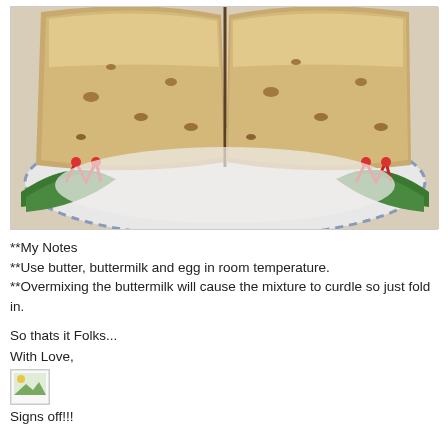[Figure (photo): Two large pieces of baked scone or cake with nuts/fruit pieces, placed on a decorative plate with red flowers and green leaves as garnish.]
**My Notes
**Use butter, buttermilk and egg in room temperature.
**Overmixing the buttermilk will cause the mixture to curdle so just fold in.
So thats it Folks...
With Love,
[image]
Signs off!!!